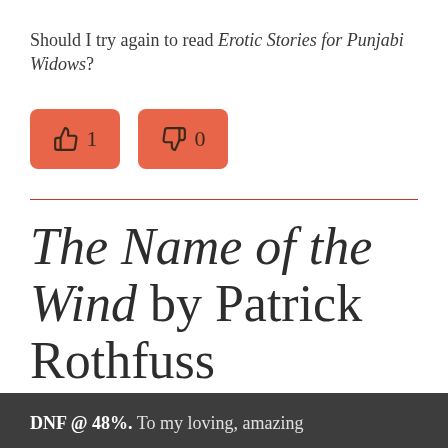Should I try again to read Erotic Stories for Punjabi Widows?
[Figure (infographic): Two rounded rectangle buttons in salmon/orange color: a thumbs up button with count '1' and a thumbs down button with count '0']
The Name of the Wind by Patrick Rothfuss
DNF @ 48%. To my loving, amazing